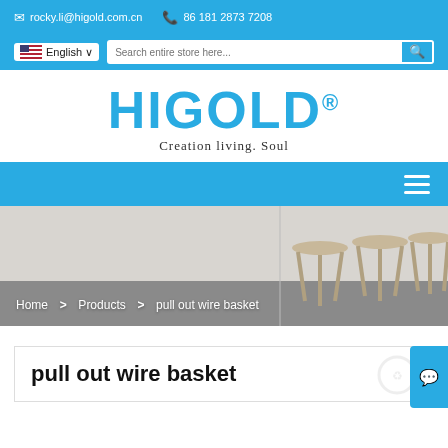✉ rocky.li@higold.com.cn   ☎ 86 181 2873 7208
[Figure (screenshot): Language selector showing US flag and English dropdown, search input field with placeholder 'Search entire store here...' and a search button]
[Figure (logo): HIGOLD logo in large blue bold text with registered trademark symbol, tagline 'Creation living. Soul' below in serif font]
[Figure (screenshot): Blue navigation bar with hamburger menu icon on the right]
[Figure (photo): Hero image with three wooden stools against a light grey/white background. Breadcrumb navigation overlay: Home > Products > pull out wire basket]
pull out wire basket